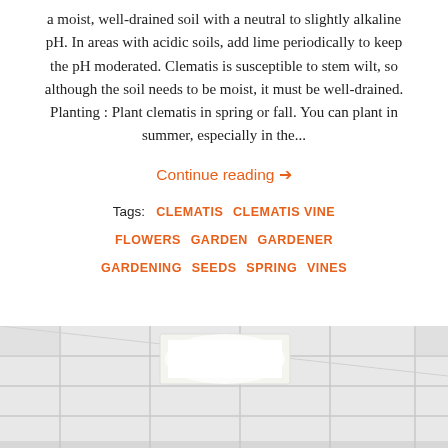a moist, well-drained soil with a neutral to slightly alkaline pH. In areas with acidic soils, add lime periodically to keep the pH moderated. Clematis is susceptible to stem wilt, so although the soil needs to be moist, it must be well-drained. Planting : Plant clematis in spring or fall. You can plant in summer, especially in the...
Continue reading →
Tags: CLEMATIS  CLEMATIS VINE  FLOWERS  GARDEN  GARDENER  GARDENING  SEEDS  SPRING  VINES
[Figure (photo): An interior ceiling with white drop ceiling tiles and a bright fluorescent light panel visible.]